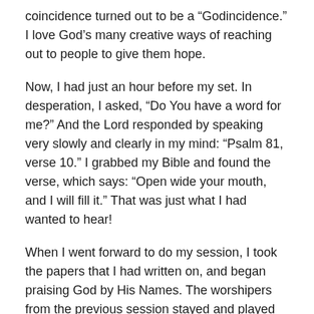coincidence turned out to be a “Godincidence.”  I love God’s many creative ways of reaching out to people to give them hope.
Now, I had just an hour before my set.  In desperation, I asked, “Do You have a word for me?”  And the Lord responded by speaking very slowly and clearly in my mind: “Psalm 81, verse 10.”  I grabbed my Bible and found the verse, which says: “Open wide your mouth, and I will fill it.”  That was just what I had wanted to hear!
When I went forward to do my session, I took the papers that I had written on, and began praising God by His Names.  The worshipers from the previous session stayed and played and joined me, with singing and music.  Sometimes we sang, sometimes we riffed, sometimes we prayed, but it had all been led by the Holy Spirit.  And too